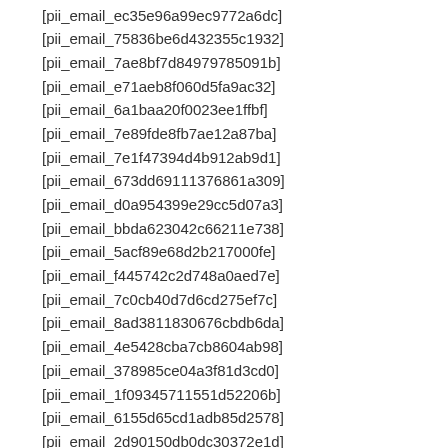[pii_email_ec35e96a99ec9772a6dc]
[pii_email_75836be6d432355c1932]
[pii_email_7ae8bf7d84979785091b]
[pii_email_e71aeb8f060d5fa9ac32]
[pii_email_6a1baa20f0023ee1ffbf]
[pii_email_7e89fde8fb7ae12a87ba]
[pii_email_7e1f47394d4b912ab9d1]
[pii_email_673dd69111376861a309]
[pii_email_d0a954399e29cc5d07a3]
[pii_email_bbda623042c66211e738]
[pii_email_5acf89e68d2b217000fe]
[pii_email_f445742c2d748a0aed7e]
[pii_email_7c0cb40d7d6cd275ef7c]
[pii_email_8ad3811830676cbdb6da]
[pii_email_4e5428cba7cb8604ab98]
[pii_email_378985ce04a3f81d3cd0]
[pii_email_1f09345711551d52206b]
[pii_email_6155d65cd1adb85d2578]
[pii_email_2d90150db0dc30372e1d]